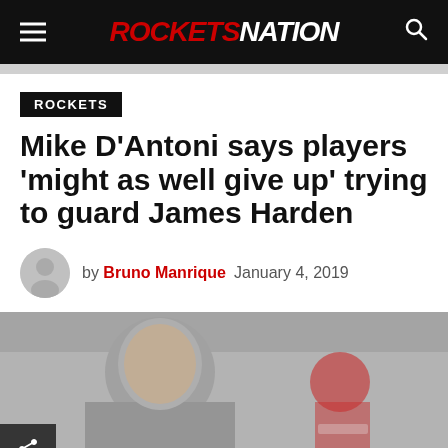ROCKETS NATION
ROCKETS
Mike D’Antoni says players ‘might as well give up’ trying to guard James Harden
by Bruno Manrique  January 4, 2019
[Figure (photo): Photo of Mike D'Antoni coaching, with James Harden visible in the background in a Houston Rockets jersey]